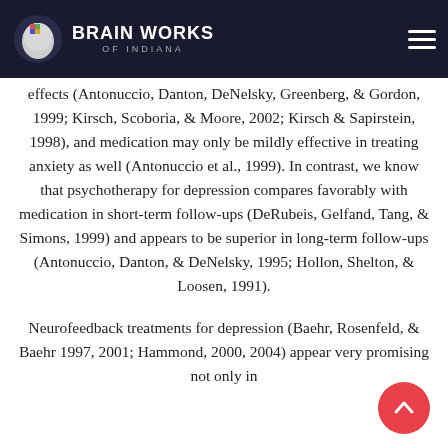Brain Works of Indiana
effects (Antonuccio, Danton, DeNelsky, Greenberg, & Gordon, 1999; Kirsch, Scoboria, & Moore, 2002; Kirsch & Sapirstein, 1998), and medication may only be mildly effective in treating anxiety as well (Antonuccio et al., 1999). In contrast, we know that psychotherapy for depression compares favorably with medication in short-term follow-ups (DeRubeis, Gelfand, Tang, & Simons, 1999) and appears to be superior in long-term follow-ups (Antonuccio, Danton, & DeNelsky, 1995; Hollon, Shelton, & Loosen, 1991).
Neurofeedback treatments for depression (Baehr, Rosenfeld, & Baehr 1997, 2001; Hammond, 2000, 2004) appear very promising not only in